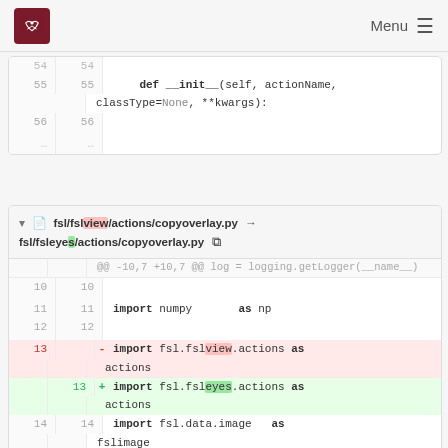Menu
[Figure (screenshot): Code diff panel 1 showing def __init__(self, actionName, classType=None, **kwargs): at lines 55-56]
[Figure (screenshot): Code diff panel 2 for fsl/fslview/actions/copyoverlay.py → fsl/fsleyes/actions/copyoverlay.py showing import changes from fsl.fslview.actions to fsl.fsleyes.actions]